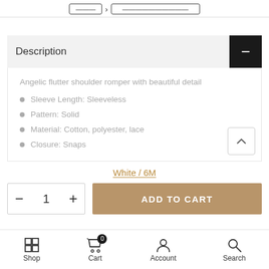Description
Angelic flutter shoulder romper with beautiful detail
Sleeve Length: Sleeveless
Pattern: Solid
Material: Cotton, polyester, lace
Closure: Snaps
White / 6M
ADD TO CART
Shop   Cart   Account   Search